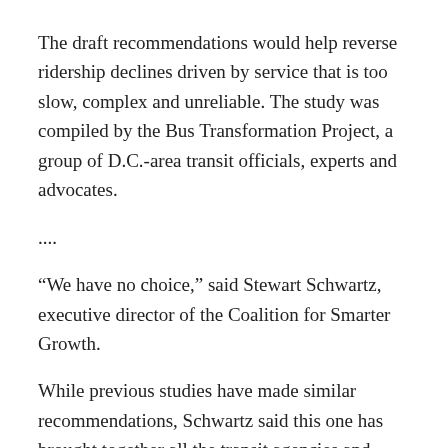The draft recommendations would help reverse ridership declines driven by service that is too slow, complex and unreliable. The study was compiled by the Bus Transformation Project, a group of D.C.-area transit officials, experts and advocates.
....
“We have no choice,” said Stewart Schwartz, executive director of the Coalition for Smarter Growth.
While previous studies have made similar recommendations, Schwartz said this one has brought together all the transit agencies and various segments of the region, including government and businesses, to work toward plan for a better bus network. Among supporters are business leaders that were part of campaign for